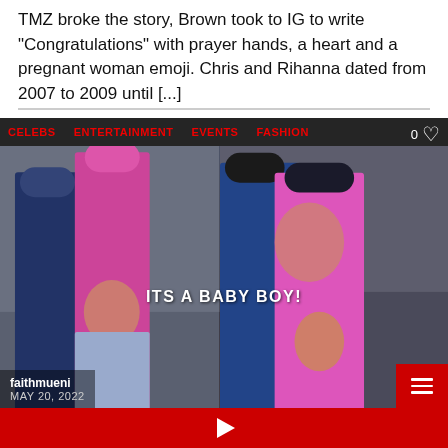TMZ broke the story, Brown took to IG to write "Congratulations" with prayer hands, a heart and a pregnant woman emoji. Chris and Rihanna dated from 2007 to 2009 until [...]
[Figure (screenshot): A screenshot of an entertainment website showing a photo collage. Navigation bar has CELEBS, ENTERTAINMENT, EVENTS, FASHION tabs in red. Two photos of a couple (Rihanna and ASAP Rocky) are shown — one with them walking, another with him kissing her cheek. Overlay text reads 'ITS A BABY BOY!'. Attribution: faithmueni, MAY 20, 2022. Heart icon with 0 likes. Red hamburger menu button.]